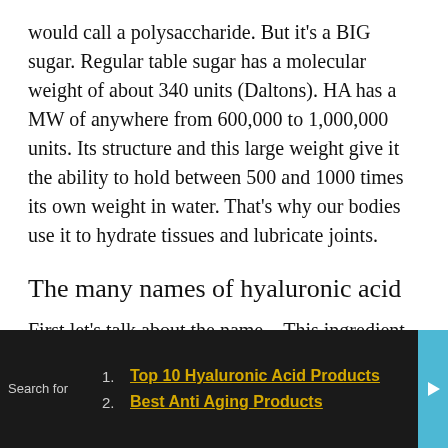would call a polysaccharide. But it's a BIG sugar. Regular table sugar has a molecular weight of about 340 units (Daltons). HA has a MW of anywhere from 600,000 to 1,000,000 units. Its structure and this large weight give it the ability to hold between 500 and 1000 times its own weight in water. That's why our bodies use it to hydrate tissues and lubricate joints.
The many names of hyaluronic acid
First let's talk about the name…This ingredient is most commonly referred to as hyaluronic acid which obviously is the acid form. Another version is the
[Figure (other): Dark overlay ad bar at bottom of page with search links: 1. Top 10 Hyaluronic Acid Products, 2. Best Anti Aging Products. Contains 'Search for' label on left and a teal play button on right.]